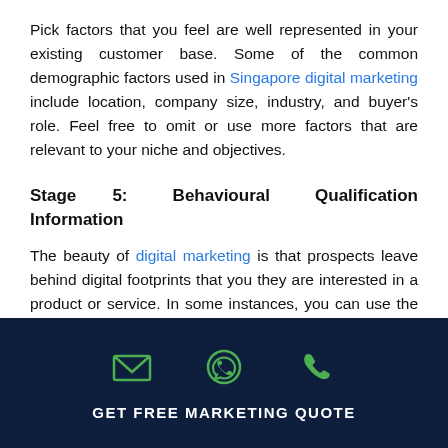Pick factors that you feel are well represented in your existing customer base. Some of the common demographic factors used in Singapore digital marketing include location, company size, industry, and buyer's role. Feel free to omit or use more factors that are relevant to your niche and objectives.
Stage 5: Behavioural Qualification Information
The beauty of digital marketing is that prospects leave behind digital footprints that you they are interested in a product or service. In some instances, you can use the footprints to know how urgent the prospects need the product.
For example, attending certain webinars and
[Figure (infographic): Dark navy footer bar with three green icons (envelope/email, WhatsApp, phone) and white bold text reading GET FREE MARKETING QUOTE]